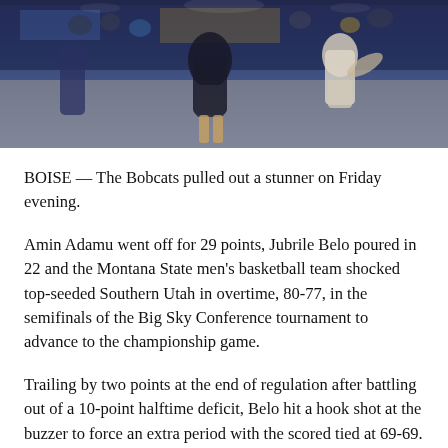[Figure (photo): Basketball game action photo showing players on court with crowd in background, tinted blue/purple arena lighting]
BOISE — The Bobcats pulled out a stunner on Friday evening.
Amin Adamu went off for 29 points, Jubrile Belo poured in 22 and the Montana State men's basketball team shocked top-seeded Southern Utah in overtime, 80-77, in the semifinals of the Big Sky Conference tournament to advance to the championship game.
Trailing by two points at the end of regulation after battling out of a 10-point halftime deficit, Belo hit a hook shot at the buzzer to force an extra period with the scored tied at 69-69.
In overtime, with the Bobcats leading 79-77 in the final